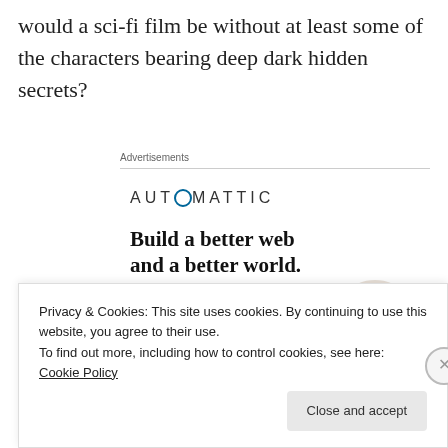would a sci-fi film be without at least some of the characters bearing deep dark hidden secrets?
Advertisements
[Figure (infographic): Automattic advertisement banner with logo, tagline 'Build a better web and a better world.' and an Apply button with a circular photo of a person.]
Privacy & Cookies: This site uses cookies. By continuing to use this website, you agree to their use.
To find out more, including how to control cookies, see here: Cookie Policy